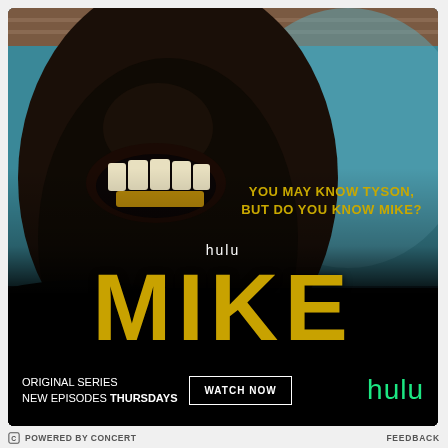[Figure (illustration): Hulu advertisement for 'MIKE' original series. Close-up photo of Mike Tyson with mouth open showing teeth with gold grillz, set against a teal background. Yellow tagline reads 'YOU MAY KNOW TYSON, BUT DO YOU KNOW MIKE?' White 'hulu' text above large golden 'MIKE' title text. Bottom bar shows 'ORIGINAL SERIES NEW EPISODES THURSDAYS', a 'WATCH NOW' button, and the green Hulu logo.]
POWERED BY CONCERT    FEEDBACK